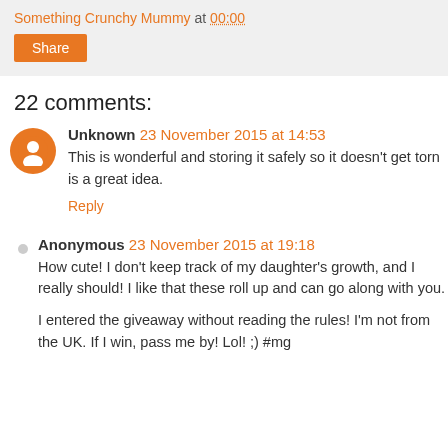Something Crunchy Mummy at 00:00
Share
22 comments:
Unknown 23 November 2015 at 14:53
This is wonderful and storing it safely so it doesn't get torn is a great idea.
Reply
Anonymous 23 November 2015 at 19:18
How cute! I don't keep track of my daughter's growth, and I really should! I like that these roll up and can go along with you.

I entered the giveaway without reading the rules! I'm not from the UK. If I win, pass me by! Lol! ;) #mg